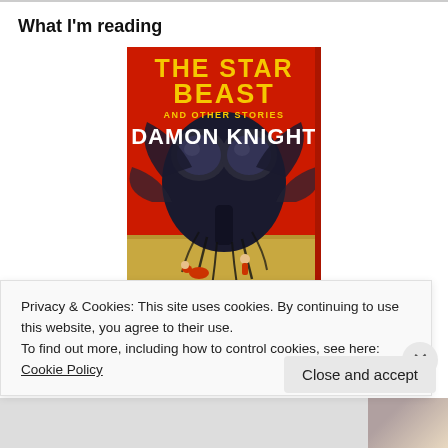What I'm reading
[Figure (photo): Book cover: 'The Star Beast and Other Stories' by Damon Knight. Red cover with large insect-like alien creature looming over two small human figures on sandy ground.]
Privacy & Cookies: This site uses cookies. By continuing to use this website, you agree to their use.
To find out more, including how to control cookies, see here: Cookie Policy
Close and accept